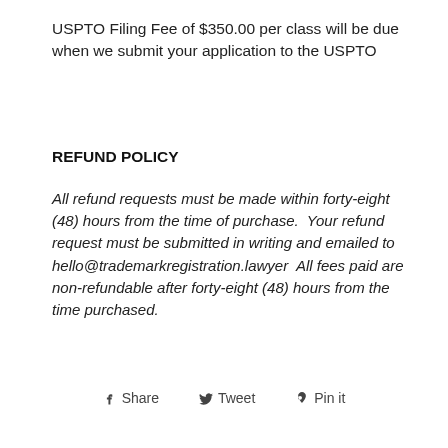USPTO Filing Fee of $350.00 per class will be due when we submit your application to the USPTO
REFUND POLICY
All refund requests must be made within forty-eight (48) hours from the time of purchase.  Your refund request must be submitted in writing and emailed to hello@trademarkregistration.lawyer  All fees paid are non-refundable after forty-eight (48) hours from the time purchased.
Share   Tweet   Pin it